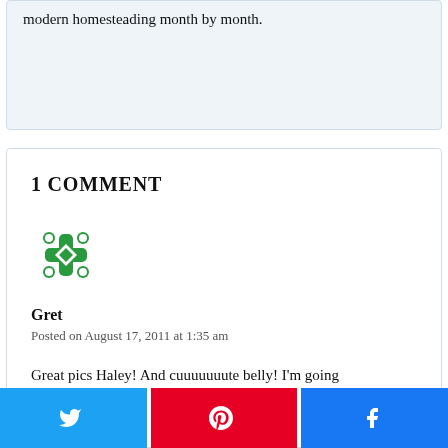modern homesteading month by month.
1 COMMENT
[Figure (illustration): Green decorative snowflake/cross pattern avatar icon for user Gret]
Gret
Posted on August 17, 2011 at 1:35 am
Great pics Haley! And cuuuuuuute belly! I'm going
[Figure (infographic): Social share bar with three buttons: Twitter (blue), Pinterest (red), Facebook (dark blue)]